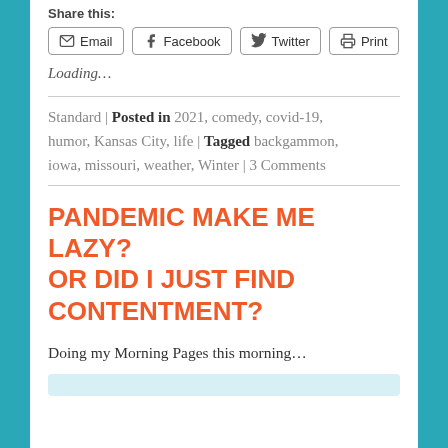Share this:
Email | Facebook | Twitter | Print
Loading…
Standard | Posted in 2021, comedy, covid-19, humor, Kansas City, life | Tagged backgammon, iowa, missouri, weather, Winter | 3 Comments
PANDEMIC MAKE ME LAZY? OR DID I JUST FIND CONTENTMENT?
Doing my Morning Pages this morning…